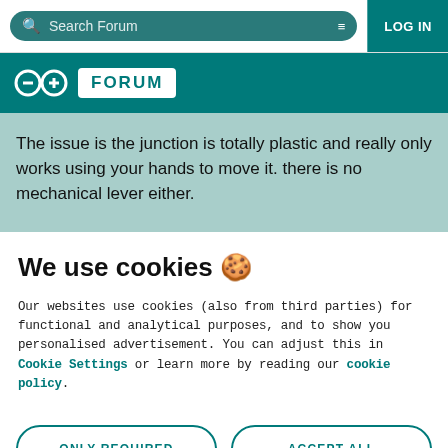Search Forum | LOG IN
[Figure (logo): Arduino Forum logo with infinity symbol and FORUM text on teal background]
The issue is the junction is totally plastic and really only works using your hands to move it. there is no mechanical lever either.
We use cookies 🍪
Our websites use cookies (also from third parties) for functional and analytical purposes, and to show you personalised advertisement. You can adjust this in Cookie Settings or learn more by reading our cookie policy.
ONLY REQUIRED
ACCEPT ALL